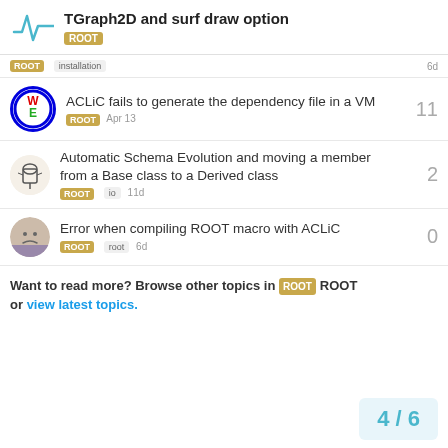TGraph2D and surf draw option | ROOT
ROOT installation 6d
ACLiC fails to generate the dependency file in a VM
ROOT Apr 13 — 11 replies
Automatic Schema Evolution and moving a member from a Base class to a Derived class
ROOT io 11d — 2 replies
Error when compiling ROOT macro with ACLiC
ROOT root 6d — 0 replies
Want to read more? Browse other topics in ROOT or view latest topics.
4 / 6